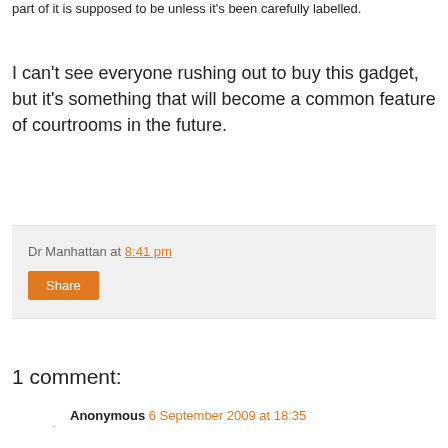part of it is supposed to be unless it's been carefully labelled.
I can't see everyone rushing out to buy this gadget, but it's something that will become a common feature of courtrooms in the future.
Dr Manhattan at 8:41 pm
Share
1 comment:
Anonymous 6 September 2009 at 18:35
Cool.
And maybe you could have a game of Doom or WoW going when the judge is lookin the other way.
Reply